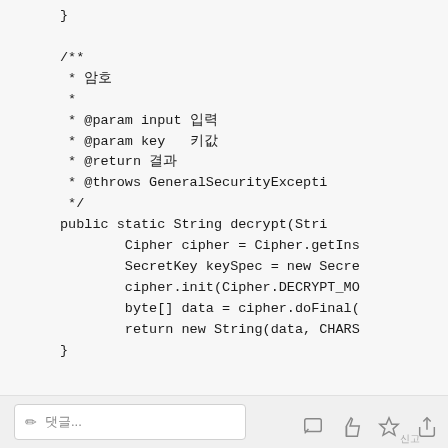}

/**
 * 암호
 *
 * @param input 입력
 * @param key   키값
 * @return 결과
 * @throws GeneralSecurityExcepti
 */
public static String decrypt(Stri
    Cipher cipher = Cipher.getIns
    SecretKey keySpec = new Secre
    cipher.init(Cipher.DECRYPT_MO
    byte[] data = cipher.doFinal(
    return new String(data, CHARS
}
✏ 댓글...